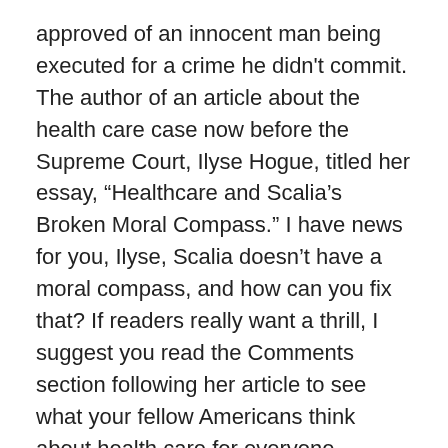approved of an innocent man being executed for a crime he didn't commit. The author of an article about the health care case now before the Supreme Court, Ilyse Hogue, titled her essay, “Healthcare and Scalia’s Broken Moral Compass.” I have news for you, Ilyse, Scalia doesn’t have a moral compass, and how can you fix that? If readers really want a thrill, I suggest you read the Comments section following her article to see what your fellow Americans think about health care for everyone.
<http://www.thenation.com/blog/168452/healthcare_and_scalias_broken_moral_compass >
What can you say to Rep. Paul Ryan who wants to cut medical benefits for injured and disabled veterans and who, along with Speaker of the House John Boehner—both Catholics by the way—“respectfully disagree” with a